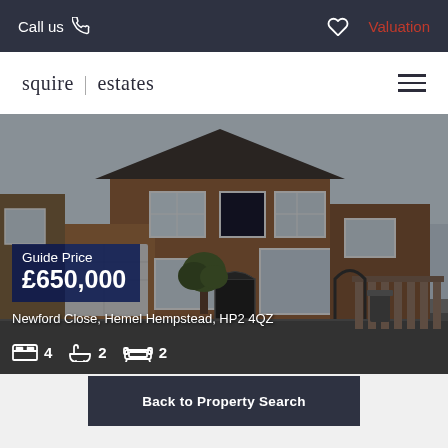Call us  ♡  Valuation
squire | estates
[Figure (photo): Exterior photo of a brick detached house on Newford Close, Hemel Hempstead, HP2 4QZ. Two-storey with white-framed windows, garage, and a small front garden.]
Guide Price £650,000
Newford Close, Hemel Hempstead, HP2 4QZ
4 bedrooms, 2 bathrooms, 2 reception rooms
Back to Property Search